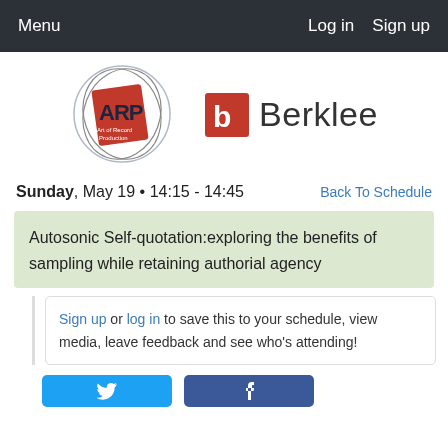Menu   Log in   Sign up
[Figure (logo): ARP (Art of Record Production) circular logo with red graphic and text]
[Figure (logo): Berklee college logo with red bracket icon and Berklee wordmark]
Sunday, May 19 • 14:15 - 14:45    Back To Schedule
Autosonic Self-quotation:exploring the benefits of sampling while retaining authorial agency
Sign up or log in to save this to your schedule, view media, leave feedback and see who's attending!